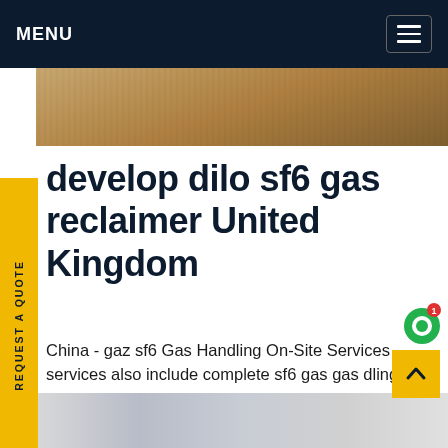MENU
[Figure (photo): Top partial image showing wooden or industrial surface with cables]
develop dilo sf6 gas reclaimer United Kingdom
China - gaz sf6 Gas Handling On-Site Services services also include complete sf6 gas gas dling which, depending on your location, is based various directives (EC, US EPA, etc.) and includes applicable record keeping requirements. This is a venient cost effective solution when ownership as handling equipment is not economical orGet price
[Figure (photo): Bottom partial image showing electrical equipment and transformers on poles]